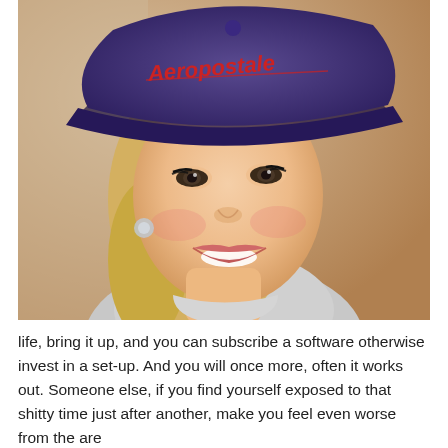[Figure (photo): A smiling woman wearing a dark navy/purple baseball cap with 'Aeropostale' written on it in red script lettering. She has blonde hair, heavy eye makeup, and is wearing a grey top. She is photographed from the shoulders up against a warm beige wall background.]
life, bring it up, and you can subscribe a software otherwise invest in a set-up. And you will once more, often it works out. Someone else, if you find yourself exposed to that shitty time just after another, make you feel even worse from the are